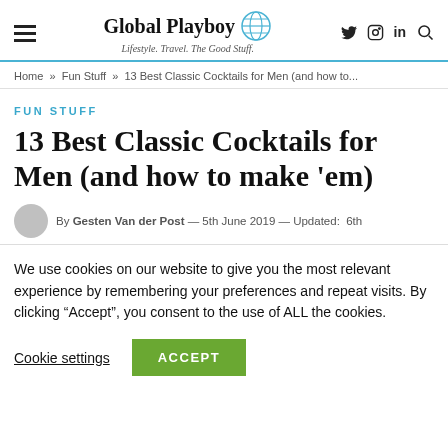Global Playboy — Lifestyle. Travel. The Good Stuff.
Home » Fun Stuff » 13 Best Classic Cocktails for Men (and how to...
FUN STUFF
13 Best Classic Cocktails for Men (and how to make 'em)
By Gesten Van der Post — 5th June 2019 — Updated: 6th
We use cookies on our website to give you the most relevant experience by remembering your preferences and repeat visits. By clicking "Accept", you consent to the use of ALL the cookies.
Cookie settings | ACCEPT